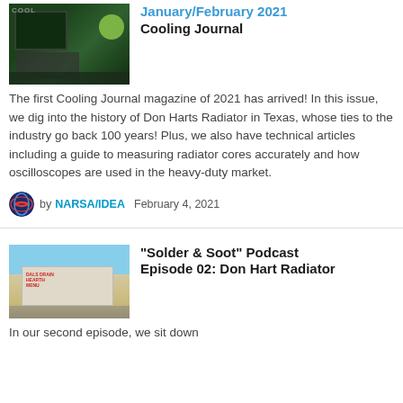January/February 2021 Cooling Journal
The first Cooling Journal magazine of 2021 has arrived! In this issue, we dig into the history of Don Harts Radiator in Texas, whose ties to the industry go back 100 years! Plus, we also have technical articles including a guide to measuring radiator cores accurately and how oscilloscopes are used in the heavy-duty market.
by NARSA/IDEA   February 4, 2021
"Solder & Soot" Podcast Episode 02: Don Hart Radiator
In our second episode, we sit down